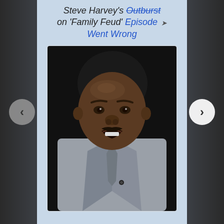Steve Harvey's Outburst on 'Family Feud' Episode Went Wrong
[Figure (photo): Photo of Steve Harvey in a gray suit with a serious/angry expression, mouth slightly open, against a dark background]